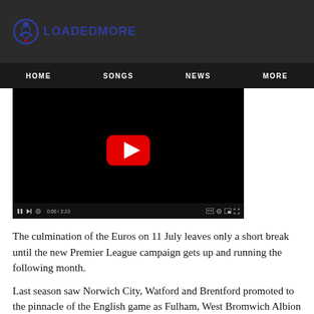LOADEDMORE
[Figure (screenshot): Navigation menu bar with items: HOME, SONGS, NEWS, MORE on dark background]
[Figure (screenshot): Embedded YouTube video player showing black screen with red play button and video controls bar at bottom]
The culmination of the Euros on 11 July leaves only a short break until the new Premier League campaign gets up and running the following month.
Last season saw Norwich City, Watford and Brentford promoted to the pinnacle of the English game as Fulham, West Bromwich Albion and Sheffield United dropped down to the Championship. At the other end of the table, Don